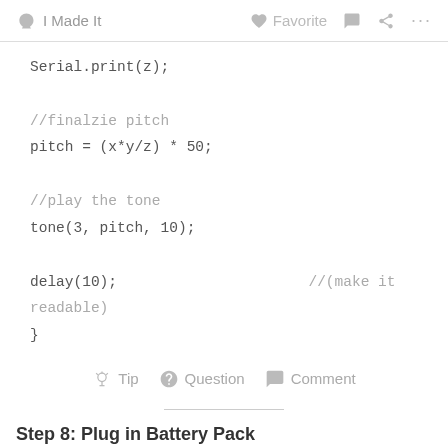I Made It   Favorite   Comment   Share   ...
Serial.print(z);

//finalzie pitch
pitch = (x*y/z) * 50;

//play the tone
tone(3, pitch, 10);

delay(10);                        //(make it readable)
}
Tip   Question   Comment
Step 8: Plug in Battery Pack